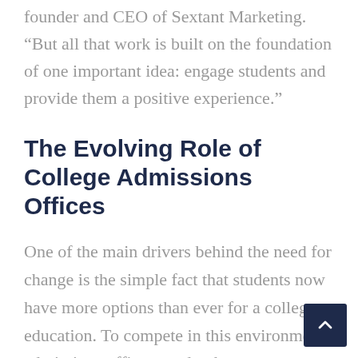founder and CEO of Sextant Marketing. “But all that work is built on the foundation of one important idea: engage students and provide them a positive experience.”
The Evolving Role of College Admissions Offices
One of the main drivers behind the need for change is the simple fact that students now have more options than ever for a college education. To compete in this environment, admissions offices need to become more proactive in